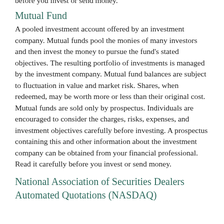before you invest or send money.
Mutual Fund
A pooled investment account offered by an investment company. Mutual funds pool the monies of many investors and then invest the money to pursue the fund's stated objectives. The resulting portfolio of investments is managed by the investment company. Mutual fund balances are subject to fluctuation in value and market risk. Shares, when redeemed, may be worth more or less than their original cost. Mutual funds are sold only by prospectus. Individuals are encouraged to consider the charges, risks, expenses, and investment objectives carefully before investing. A prospectus containing this and other information about the investment company can be obtained from your financial professional. Read it carefully before you invest or send money.
National Association of Securities Dealers Automated Quotations (NASDAQ)